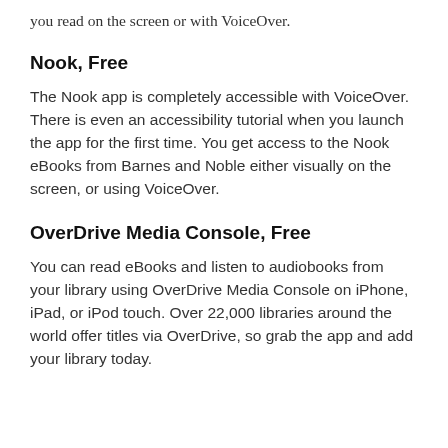you read on the screen or with VoiceOver.
Nook, Free
The Nook app is completely accessible with VoiceOver. There is even an accessibility tutorial when you launch the app for the first time. You get access to the Nook eBooks from Barnes and Noble either visually on the screen, or using VoiceOver.
OverDrive Media Console, Free
You can read eBooks and listen to audiobooks from your library using OverDrive Media Console on iPhone, iPad, or iPod touch. Over 22,000 libraries around the world offer titles via OverDrive, so grab the app and add your library today.